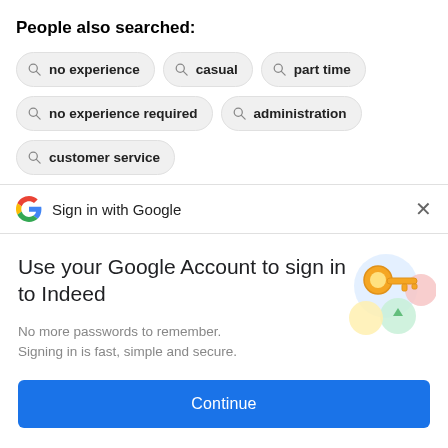People also searched:
no experience
casual
part time
no experience required
administration
customer service
Sign in with Google
Use your Google Account to sign in to Indeed
No more passwords to remember. Signing in is fast, simple and secure.
[Figure (illustration): Google sign-in illustration with a key and colored circles]
Continue